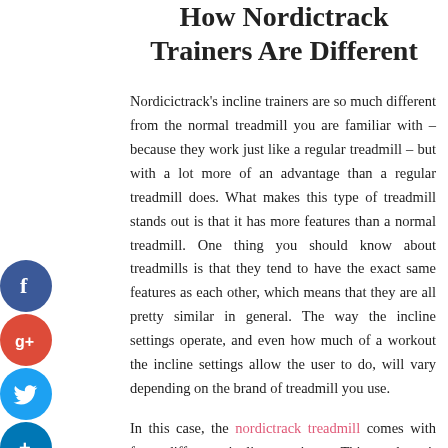How Nordictrack Trainers Are Different
Nordicictrack's incline trainers are so much different from the normal treadmill you are familiar with – because they work just like a regular treadmill – but with a lot more of an advantage than a regular treadmill does. What makes this type of treadmill stands out is that it has more features than a normal treadmill. One thing you should know about treadmills is that they tend to have the exact same features as each other, which means that they are all pretty similar in general. The way the incline settings operate, and even how much of a workout the incline settings allow the user to do, will vary depending on the brand of treadmill you use.
In this case, the nordictrack treadmill comes with four different incline settings. This makes it different from